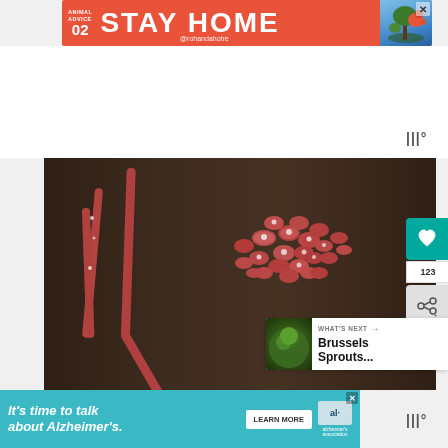[Figure (screenshot): Top advertisement banner with coral/red background reading 'ANIMAL ADVICE 02 STAY HOME @rohandahotre' with illustrated mushroom/tree graphic]
[Figure (photo): Photo of salami/sausage sticks and chopped pieces arranged on a dark wooden cutting board]
[Figure (screenshot): Social interaction UI with teal heart button showing 123 likes and a share button]
[Figure (screenshot): What's Next overlay showing Brussels Sprouts thumbnail and text]
[Figure (screenshot): Bottom advertisement for Alzheimer's Association reading 'It's time to talk about Alzheimer's.' with LEARN MORE button and Alzheimer's Association logo]